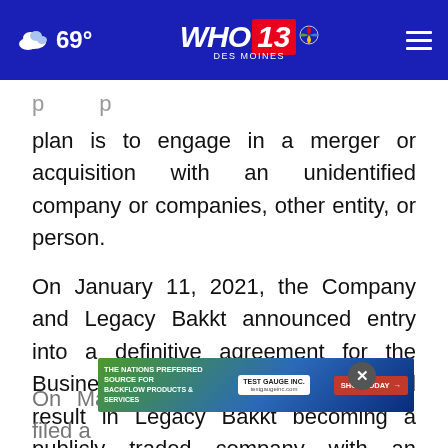69° WHO 13 DES MOINES
plan is to engage in a merger or acquisition with an unidentified company or companies, other entity, or person.
On January 11, 2021, the Company and Legacy Bakkt announced entry into a definitive agreement for the Business Combination that would result in Legacy Bakkt becoming a publicly traded company with an enterprise value of approximately $2.1 billion.
[Figure (screenshot): Advertisement banner for Test Gauge Inc. - Backflow Products & Services]
On March 31, 2021, the Company filed a